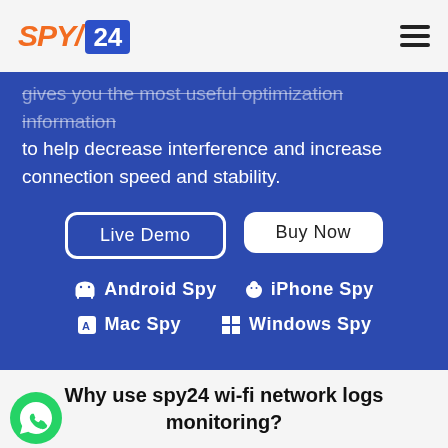SPY/24
gives you the most useful optimization information to help decrease interference and increase connection speed and stability.
Live Demo
Buy Now
Android Spy  iPhone Spy
Mac Spy  Windows Spy
Why use spy24 wi-fi network logs monitoring?